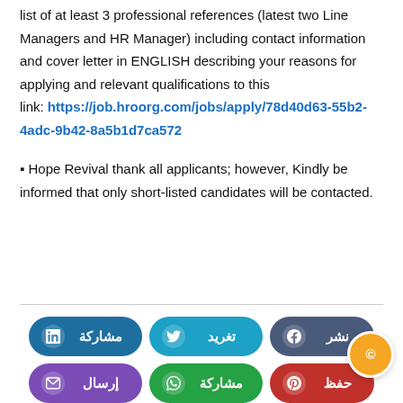list of at least 3 professional references (latest two Line Managers and HR Manager) including contact information and cover letter in ENGLISH describing your reasons for applying and relevant qualifications to this link: https://job.hroorg.com/jobs/apply/78d40d63-55b2-4adc-9b42-8a5b1d7ca572
▪ Hope Revival thank all applicants; however, Kindly be informed that only short-listed candidates will be contacted.
[Figure (infographic): Six social media sharing buttons arranged in two rows: LinkedIn (مشاركة), Twitter (تغريد), Facebook/نشر; Email (إرسال), WhatsApp (مشاركة), Pinterest (حفظ). A gold circular badge is visible on the right side.]